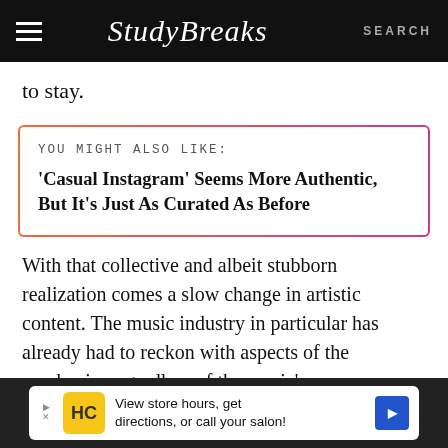Study Breaks — SEARCH
to stay.
YOU MIGHT ALSO LIKE: 'Casual Instagram' Seems More Authentic, But It's Just As Curated As Before
With that collective and albeit stubborn realization comes a slow change in artistic content. The music industry in particular has already had to reckon with aspects of the pandemic, regardless of the music's
[Figure (other): Advertisement banner: HC logo with text 'View store hours, get directions, or call your salon!' and a blue diamond arrow icon]